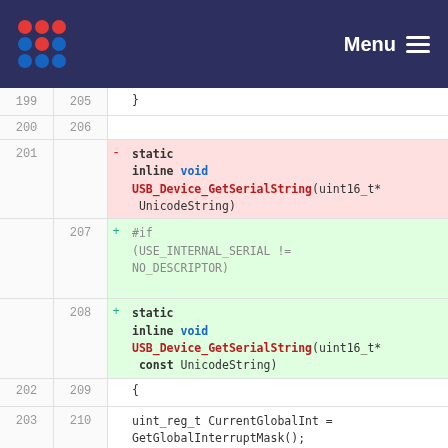Menu
199 205    }
200 206
201    -    static inline void USB_Device_GetSerialString(uint16_t* UnicodeString)
   207 +    #if (USE_INTERNAL_SERIAL != NO_DESCRIPTOR)
   208 +    static inline void USB_Device_GetSerialString(uint16_t* const UnicodeString)
202 209    {
203 210    uint_reg_t CurrentGlobalInt = GetGlobalInterruptMask();
204 211    GlobalInterruptDisable();
205 212